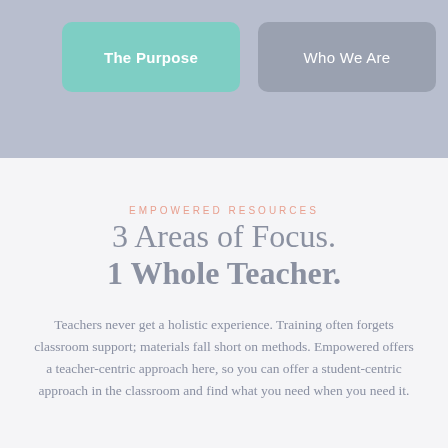[Figure (other): Navigation button area with two rounded rectangle buttons on a grey-blue background: 'The Purpose' (teal/mint colored, active) and 'Who We Are' (grey, inactive)]
EMPOWERED RESOURCES
3 Areas of Focus.
1 Whole Teacher.
Teachers never get a holistic experience. Training often forgets classroom support; materials fall short on methods. Empowered offers a teacher-centric approach here, so you can offer a student-centric approach in the classroom and find what you need when you need it.